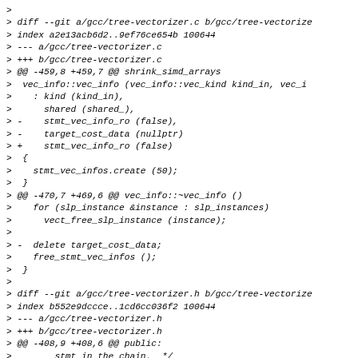>
> diff --git a/gcc/tree-vectorizer.c b/gcc/tree-vectorize
> index a2e13acb6d2..9ef76ce654b 100644
> --- a/gcc/tree-vectorizer.c
> +++ b/gcc/tree-vectorizer.c
> @@ -459,8 +459,7 @@ shrink_simd_arrays
>  vec_info::vec_info (vec_info::vec_kind kind_in, vec_i
>    : kind (kind_in),
>      shared (shared_),
> -    stmt_vec_info_ro (false),
> -    target_cost_data (nullptr)
> +    stmt_vec_info_ro (false)
>  {
>    stmt_vec_infos.create (50);
>  }
> @@ -470,7 +469,6 @@ vec_info::~vec_info ()
>    for (slp_instance &instance : slp_instances)
>      vect_free_slp_instance (instance);
>
> -  delete target_cost_data;
>    free_stmt_vec_infos ();
>  }
>
> diff --git a/gcc/tree-vectorizer.h b/gcc/tree-vectorize
> index b552e9dccce..1cd6cc036f2 100644
> --- a/gcc/tree-vectorizer.h
> +++ b/gcc/tree-vectorizer.h
> @@ -408,9 +408,6 @@ public:
>        stmt in the chain.  */
>    auto vec<stmt vec info> grouped stores;